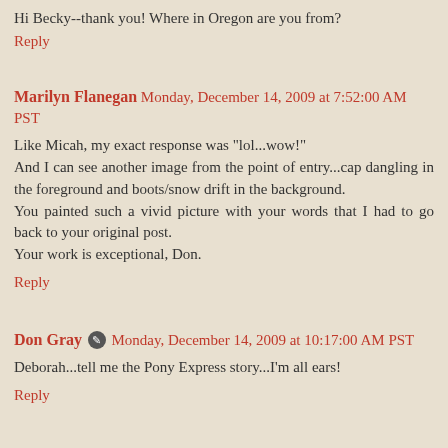Hi Becky--thank you! Where in Oregon are you from?
Reply
Marilyn Flanegan Monday, December 14, 2009 at 7:52:00 AM PST
Like Micah, my exact response was "lol...wow!"
And I can see another image from the point of entry...cap dangling in the foreground and boots/snow drift in the background.
You painted such a vivid picture with your words that I had to go back to your original post.
Your work is exceptional, Don.
Reply
Don Gray Monday, December 14, 2009 at 10:17:00 AM PST
Deborah...tell me the Pony Express story...I'm all ears!
Reply